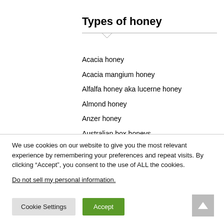Types of honey
Acacia honey
Acacia mangium honey
Alfalfa honey aka lucerne honey
Almond honey
Anzer honey
Australian box honeys
We use cookies on our website to give you the most relevant experience by remembering your preferences and repeat visits. By clicking “Accept”, you consent to the use of ALL the cookies.
Do not sell my personal information.